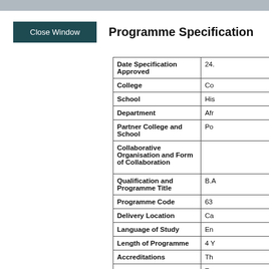Programme Specification
| Field | Value |
| --- | --- |
| Date Specification Approved | 24... |
| College | Co... |
| School | His... |
| Department | Afr... |
| Partner College and School | Po... |
| Collaborative Organisation and Form of Collaboration |  |
| Qualification and Programme Title | B.A... |
| Programme Code | 63... |
| Delivery Location | Ca... |
| Language of Study | En... |
| Length of Programme | 4 Y... |
| Accreditations | Th... |
|  | To stu init of... |